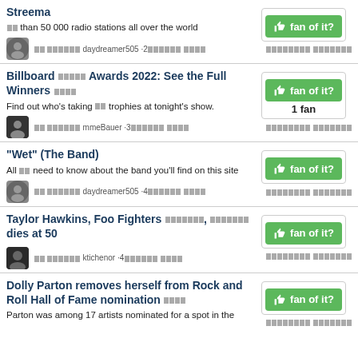Streema — More than 50 000 radio stations all over the world
Billboard Music Awards 2022: See the Full Winners — Find out who's taking home trophies at tonight's show.
"Wet" (The Band) — All you need to know about the band you'll find on this site
Taylor Hawkins, Foo Fighters drummer, dies at 50
Dolly Parton removes herself from Rock and Roll Hall of Fame nomination — Parton was among 17 artists nominated for a spot in the